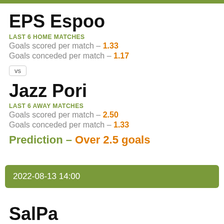EPS Espoo
LAST 6 HOME MATCHES
Goals scored per match - 1.33
Goals conceded per match - 1.17
vs
Jazz Pori
LAST 6 AWAY MATCHES
Goals scored per match - 2.50
Goals conceded per match - 1.33
Prediction - Over 2.5 goals
2022-08-13 14:00
SalPa